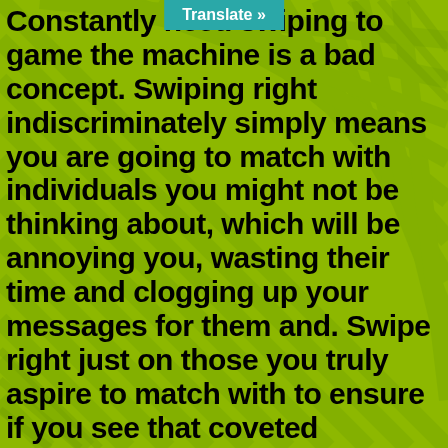[Figure (other): Green textured background with diagonal patterns resembling building/architectural elements]
Constantly need swiping to game the machine is a bad concept. Swiping right indiscriminately simply means you are going to match with individuals you might not be thinking about, which will be annoying you, wasting their time and clogging up your messages for them and. Swipe right just on those you truly aspire to match with to ensure if you see that coveted "Congratulations! It is a match!" alert, it really means something. Not just that, but brand brand brand new iterations of